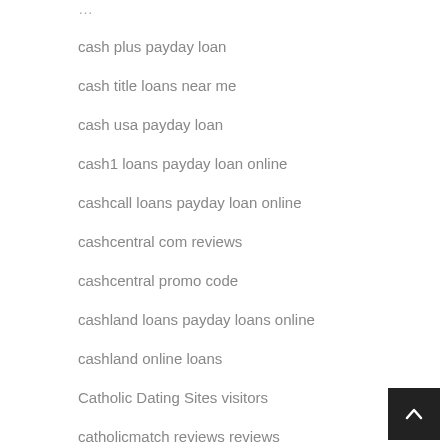cash plus payday loan
cash title loans near me
cash usa payday loan
cash1 loans payday loan online
cashcall loans payday loan online
cashcentral com reviews
cashcentral promo code
cashland loans payday loans online
cashland online loans
Catholic Dating Sites visitors
catholicmatch reviews reviews
catholicmatch visitors
catholicmatch web